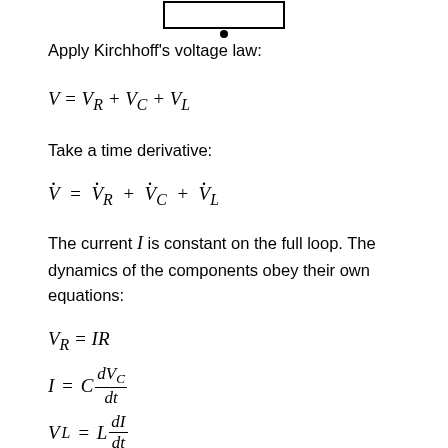[Figure (circuit-diagram): Partial circuit diagram showing a box with a dot at the bottom center, representing part of an RLC circuit.]
Apply Kirchhoff's voltage law:
Take a time derivative:
The current I is constant on the full loop. The dynamics of the components obey their own equations: